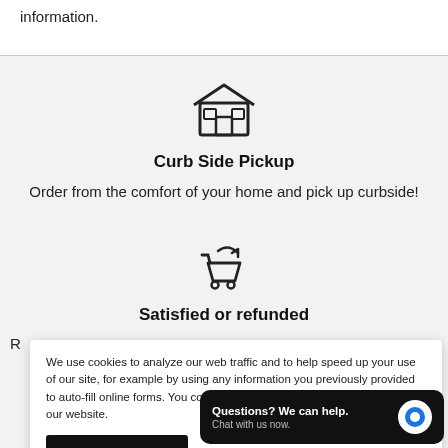information.
[Figure (illustration): Store/shop icon (outline of a building with awning and window)]
Curb Side Pickup
Order from the comfort of your home and pick up curbside!
[Figure (illustration): Shopping cart with return arrow icon]
Satisfied or refunded
We use cookies to analyze our web traffic and to help speed up your use of our site, for example by using any information you previously provided to auto-fill online forms. You consent to our cookies if you continue to use our website.
Accept Cookies
Questions? We can help. Chat with us now.
Canada-wide Delivery